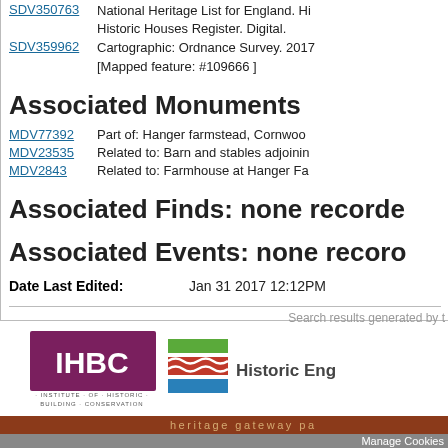SDV350763 National Heritage List for England. Historic Houses Register. Digital.
SDV359962 Cartographic: Ordnance Survey. 2017. [Mapped feature: #109666 ]
Associated Monuments
MDV77392 Part of: Hanger farmstead, Cornwood
MDV23535 Related to: Barn and stables adjoining
MDV2843 Related to: Farmhouse at Hanger Fa
Associated Finds: none recorded
Associated Events: none recorded
Date Last Edited: Jan 31 2017 12:12PM
Search results generated by t
[Figure (logo): IHBC Institute of Historic Building Conservation logo]
[Figure (logo): Historic England logo]
heritage gateway pa
Manage Cookies